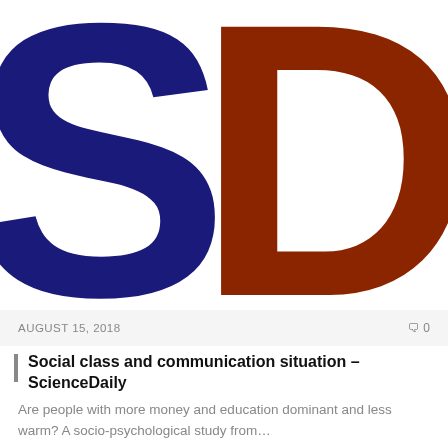[Figure (logo): ScienceDaily logo — large dark blue 'S' on left and dark brown/rust 'D' on right, cropped so letters extend beyond frame edges]
AUGUST 15, 2018   ♡0
Social class and communication situation – ScienceDaily
Are people with more money and education dominant and less warm? A socio-psychological study from…